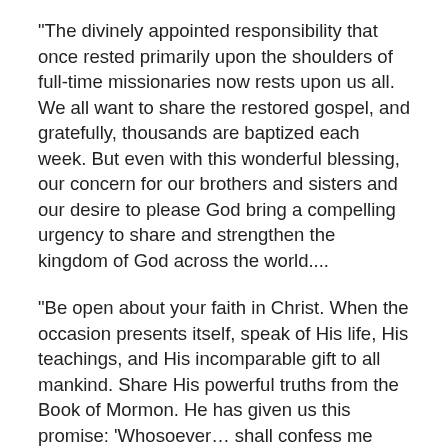"The divinely appointed responsibility that once rested primarily upon the shoulders of full-time missionaries now rests upon us all. We all want to share the restored gospel, and gratefully, thousands are baptized each week. But even with this wonderful blessing, our concern for our brothers and sisters and our desire to please God bring a compelling urgency to share and strengthen the kingdom of God across the world....
"Be open about your faith in Christ. When the occasion presents itself, speak of His life, His teachings, and His incomparable gift to all mankind. Share His powerful truths from the Book of Mormon. He has given us this promise: 'Whosoever… shall confess me before men, him will I confess… before my Father… in heaven' (Matthew 10:32). I promise you that as you pray often and sincerely for opportunities to 'stand as a witness of God,' those opportunities will come,